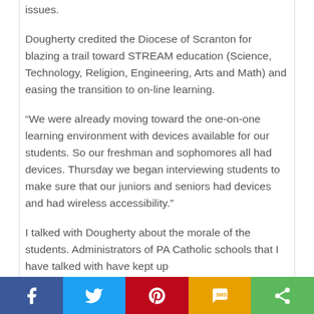issues.
Dougherty credited the Diocese of Scranton for blazing a trail toward STREAM education (Science, Technology, Religion, Engineering, Arts and Math) and easing the transition to on-line learning.
“We were already moving toward the one-on-one learning environment with devices available for our students. So our freshman and sophomores all had devices. Thursday we began interviewing students to make sure that our juniors and seniors had devices and had wireless accessibility.”
I talked with Dougherty about the morale of the students. Administrators of PA Catholic schools that I have talked with have kept up